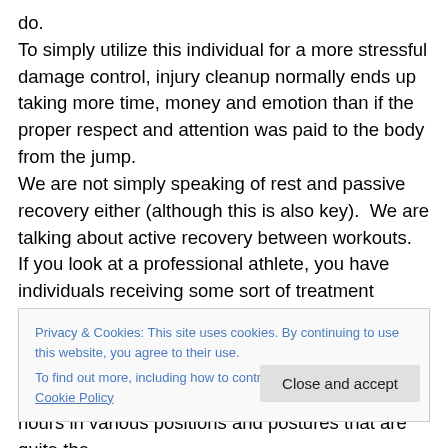do. To simply utilize this individual for a more stressful damage control, injury cleanup normally ends up taking more time, money and emotion than if the proper respect and attention was paid to the body from the jump. We are not simply speaking of rest and passive recovery either (although this is also key).  We are talking about active recovery between workouts.  If you look at a professional athlete, you have individuals receiving some sort of treatment numerous times per week, if not daily. And while we are not referring to professional athletes
Privacy & Cookies: This site uses cookies. By continuing to use this website, you agree to their use. To find out more, including how to control cookies, see here: Cookie Policy
Close and accept
hours in various positions and postures that are quite the